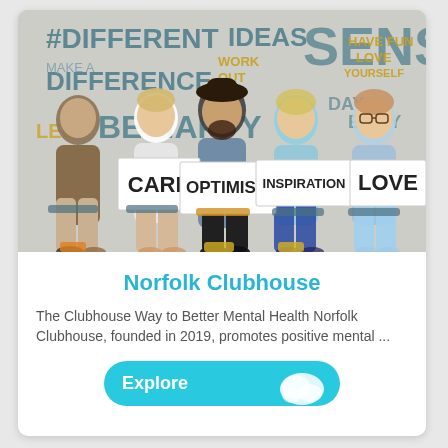[Figure (photo): Five people sitting in chairs holding up signs reading CARE, OPTIMISM, INSPIRATION, and LOVE. The background wall has motivational words like DIFFERENT, IDEAS, SENSE, HAVE FUN, LOVE YOURSELF, BE HAPPY, etc. in various colors.]
Norfolk Clubhouse
The Clubhouse Way to Better Mental Health Norfolk Clubhouse, founded in 2019, promotes positive mental ...
Explore